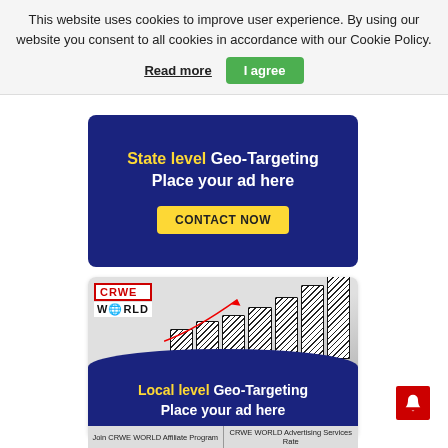This website uses cookies to improve user experience. By using our website you consent to all cookies in accordance with our Cookie Policy.
Read more | I agree
[Figure (infographic): Dark blue banner ad: 'State level Geo-Targeting Place your ad here' with a yellow CONTACT NOW button]
[Figure (infographic): CRWE WORLD branded local geo-targeting ad with bar chart illustration, red arrow, and blue curved section with 'Local level Geo-Targeting Place your ad here']
Join CRWE WORLD Affiliate Program | CRWE WORLD Advertising Services Rate